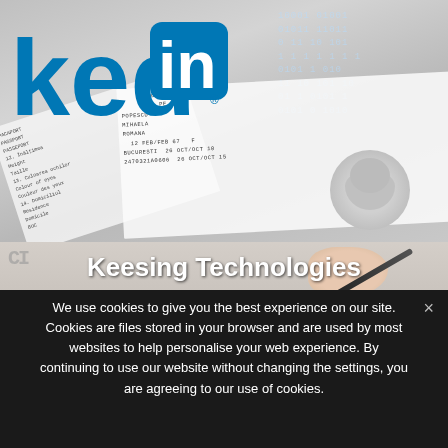[Figure (screenshot): Screenshot of a webpage showing LinkedIn logo overlaid on passport/ID document images with binary data in background, with Keesing Technologies title partially visible]
Keesing Technologies
We use cookies to give you the best experience on our site. Cookies are files stored in your browser and are used by most websites to help personalise your web experience. By continuing to use our website without changing the settings, you are agreeing to our use of cookies.
Agree
Read More